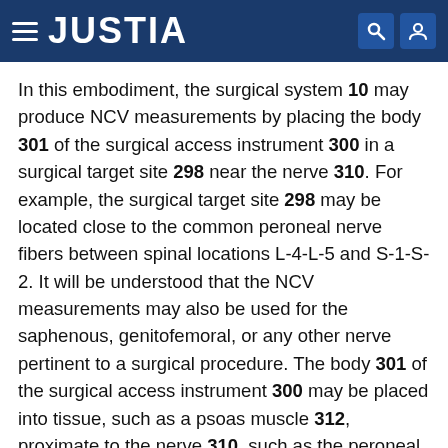JUSTIA
In this embodiment, the surgical system 10 may produce NCV measurements by placing the body 301 of the surgical access instrument 300 in a surgical target site 298 near the nerve 310. For example, the surgical target site 298 may be located close to the common peroneal nerve fibers between spinal locations L-4-L-5 and S-1-S-2. It will be understood that the NCV measurements may also be used for the saphenous, genitofemoral, or any other nerve pertinent to a surgical procedure. The body 301 of the surgical access instrument 300 may be placed into tissue, such as a psoas muscle 312, proximate to the nerve 310, such as the peroneal nerve fibers. The one or more peripheral nerve electrodes 299 may have been placed a predetermined distance from the surgical target site 309 and the body 301 of the surgical access instrument 300 along the nerve path 314 formed by the